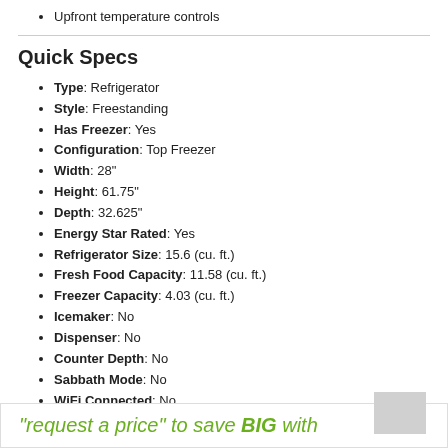Upfront temperature controls
Quick Specs
Type: Refrigerator
Style: Freestanding
Has Freezer: Yes
Configuration: Top Freezer
Width: 28"
Height: 61.75"
Depth: 32.625"
Energy Star Rated: Yes
Refrigerator Size: 15.6 (cu. ft.)
Fresh Food Capacity: 11.58 (cu. ft.)
Freezer Capacity: 4.03 (cu. ft.)
Icemaker: No
Dispenser: No
Counter Depth: No
Sabbath Mode: No
WiFi Connected: No
See More
"request a price" to save BIG with